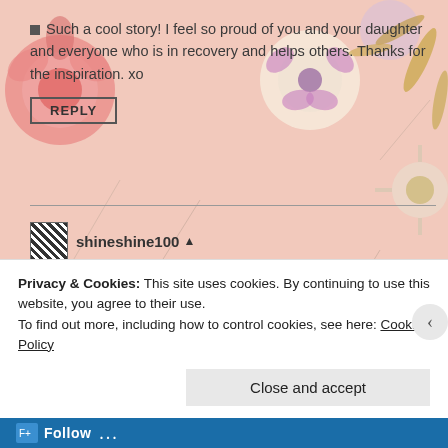Such a cool story! I feel so proud of you and your daughter and everyone who is in recovery and helps others. Thanks for the inspiration. xo
REPLY
shineshine100
December 7, 2015 at 5:00 pm
Thanks thirsty still! We keep what we have by reaching out and giving it away to those who are still suffering. How cool is that???!
Privacy & Cookies: This site uses cookies. By continuing to use this website, you agree to their use.
To find out more, including how to control cookies, see here: Cookie Policy
Close and accept
Follow